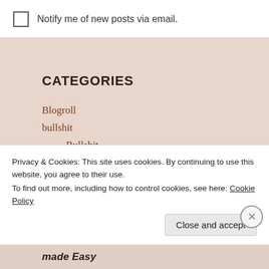Notify me of new posts via email.
CATEGORIES
Blogroll
bullshit
Bullshit
So you think you're cultured?
Films
Literature
Politics
Privacy & Cookies: This site uses cookies. By continuing to use this website, you agree to their use.
To find out more, including how to control cookies, see here: Cookie Policy
Close and accept